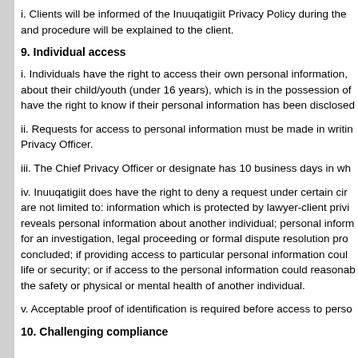i. Clients will be informed of the Inuuqatigiit Privacy Policy during the and procedure will be explained to the client.
9. Individual access
i. Individuals have the right to access their own personal information, about their child/youth (under 16 years), which is in the possession of have the right to know if their personal information has been disclosed
ii. Requests for access to personal information must be made in writin Privacy Officer.
iii. The Chief Privacy Officer or designate has 10 business days in wh
iv. Inuuqatigiit does have the right to deny a request under certain cir are not limited to: information which is protected by lawyer-client privi reveals personal information about another individual; personal inform for an investigation, legal proceeding or formal dispute resolution pro concluded; if providing access to particular personal information coul life or security; or if access to the personal information could reasonab the safety or physical or mental health of another individual.
v. Acceptable proof of identification is required before access to perso
10. Challenging compliance